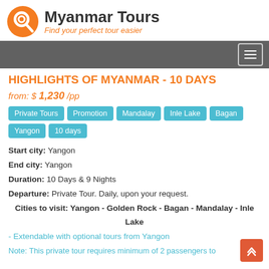Myanmar Tours - Find your perfect tour easier
HIGHLIGHTS OF MYANMAR - 10 DAYS
from: $ 1,230 /pp
Private Tours
Promotion
Mandalay
Inle Lake
Bagan
Yangon
10 days
Start city: Yangon
End city: Yangon
Duration: 10 Days & 9 Nights
Departure: Private Tour. Daily, upon your request.
Cities to visit: Yangon - Golden Rock - Bagan - Mandalay - Inle Lake
- Extendable with optional tours from Yangon
Note: This private tour requires minimum of 2 passengers to